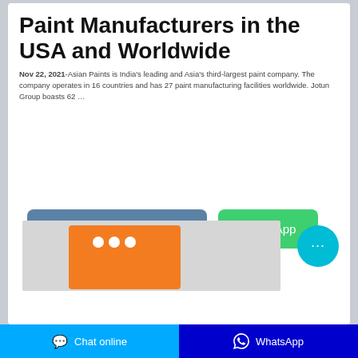Paint Manufacturers in the USA and Worldwide
Nov 22, 2021-Asian Paints is India's leading and Asia's third-largest paint company. The company operates in 16 countries and has 27 paint manufacturing facilities worldwide. Jotun Group boasts 62 …
[Figure (screenshot): Blue 'Contact the manufacturer' button and green 'WhatsApp' button side by side]
[Figure (photo): Product image showing an orange paint or chemical product bag on a light grey background]
Chat online    WhatsApp